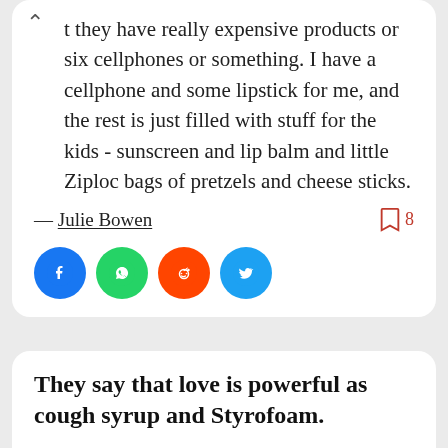t they have really expensive products or six cellphones or something. I have a cellphone and some lipstick for me, and the rest is just filled with stuff for the kids - sunscreen and lip balm and little Ziploc bags of pretzels and cheese sticks.
— Julie Bowen
[Figure (other): Social share buttons: Facebook (blue circle), WhatsApp (green circle), Reddit (orange circle), Twitter (blue circle)]
They say that love is powerful as cough syrup and Styrofoam.
All I know is I fell asleep and woke up in that Monte Carlo With the ugly Kardashian...